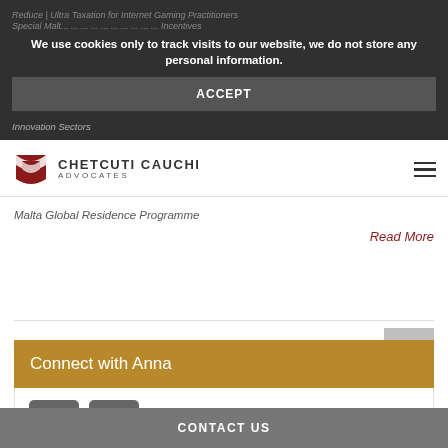We use cookies only to track visits to our website, we do not store any personal information.
ACCEPT
Innovation Sectors
[Figure (logo): Chetcuti Cauchi Advocates logo with red geometric icon]
Malta Global Residence Programme
Read More
Connect with Anna
[Figure (infographic): Contact card icon and email envelope icon]
CONTACT US